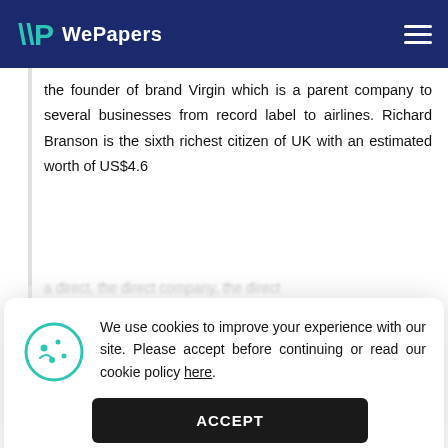WePapers
the founder of brand Virgin which is a parent company to several businesses from record label to airlines. Richard Branson is the sixth richest citizen of UK with an estimated worth of US$4.6
We use cookies to improve your experience with our site. Please accept before continuing or read our cookie policy here.
virgin in the industry. In 1973 the famous Continue reading...